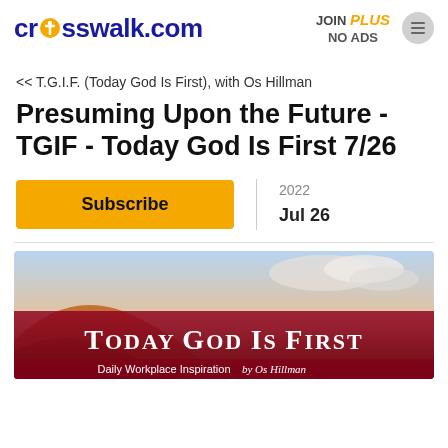crosswalk.com | JOIN PLUS NO ADS
<< T.G.I.F. (Today God Is First), with Os Hillman
Presuming Upon the Future - TGIF - Today God Is First 7/26
Subscribe
2022
Jul 26
[Figure (illustration): Banner image for 'Today God Is First' devotional by Os Hillman. Shows a scenic outdoor background with text 'TODAY GOD IS FIRST' in large white letters and 'Daily Workplace Inspiration by Os Hillman' below.]